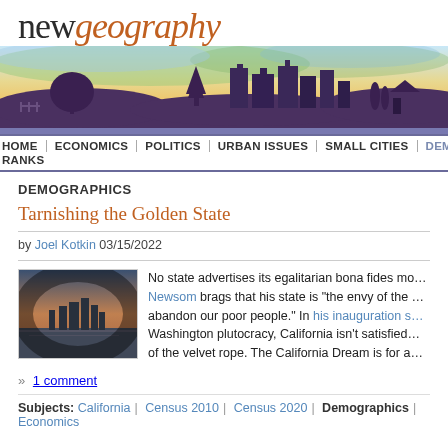newgeography
[Figure (illustration): Illustrated cityscape and nature panorama banner with silhouetted trees, skyline buildings, and colorful watercolor sky gradient.]
HOME | ECONOMICS | POLITICS | URBAN ISSUES | SMALL CITIES | DEMOGRAPHICS | RANKS
DEMOGRAPHICS
Tarnishing the Golden State
by Joel Kotkin 03/15/2022
[Figure (photo): Photograph of a city skyline at dusk or dawn, viewed from across water.]
No state advertises its egalitarian bona fides mo... Newsom brags that his state is "the envy of the ... abandon our poor people." In his inauguration s... Washington plutocracy, California isn't satisfied... of the velvet rope. The California Dream is for a...
» 1 comment
Subjects: California | Census 2010 | Census 2020 | Demographics | Economics